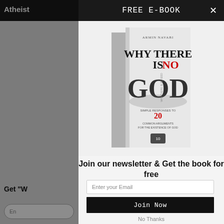Atheist | FREE E-BOOK
[Figure (illustration): Book cover for 'Why There Is No God' by Armin Navabi. White cover with large bold text 'WHY THERE IS NO GOD' and subtitle '20 Common Arguments for the Existence of God'. Book shown in 3D perspective.]
Join our newsletter & Get the book for free
Enter your Email
Join Now
No Thanks